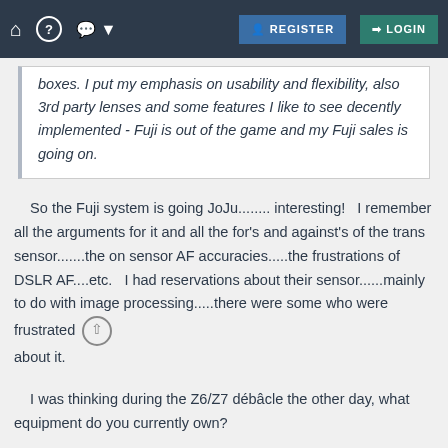REGISTER  LOGIN
boxes. I put my emphasis on usability and flexibility, also 3rd party lenses and some features I like to see decently implemented - Fuji is out of the game and my Fuji sales is going on.
So the Fuji system is going JoJu........ interesting!   I remember all the arguments for it and all the for's and against's of the trans sensor.......the on sensor AF accuracies.....the frustrations of DSLR AF....etc.   I had reservations about their sensor......mainly to do with image processing.....there were some who were frustrated about it.
I was thinking during the Z6/Z7 débâcle the other day, what equipment do you currently own?